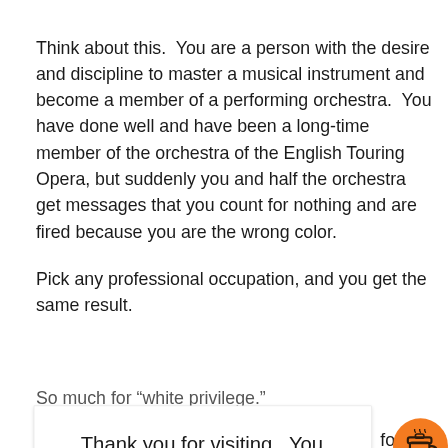Think about this.  You are a person with the desire and discipline to master a musical instrument and become a member of a performing orchestra.  You have done well and have been a long-time member of the orchestra of the English Touring Opera, but suddenly you and half the orchestra get messages that you count for nothing and are fired because you are the wrong color.
Pick any professional occupation, and you get the same result.
So much for “white privilege.”
[Figure (screenshot): White popup overlay box with text: 'Thank you for visiting. You can now buy me a coffee!' with an orange circular coffee cup icon button on the right side]
career and livlinood.  As I pointed out in my book,